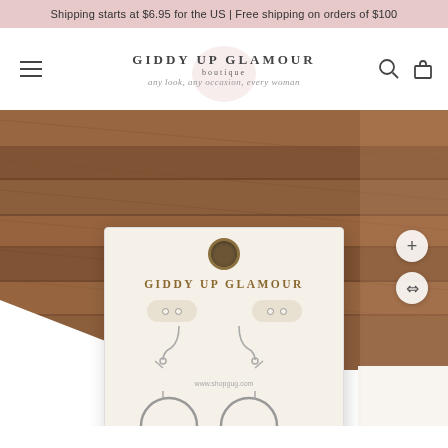Shipping starts at $6.95 for the US | Free shipping on orders of $100
[Figure (logo): Giddy Up Glamour boutique logo with decorative script text: any look, any occasion, every woman]
[Figure (photo): Product photo of Giddy Up Glamour branded earring display card on a wood background, showing a pair of silver hoop earrings with www.shopgug.com printed on card]